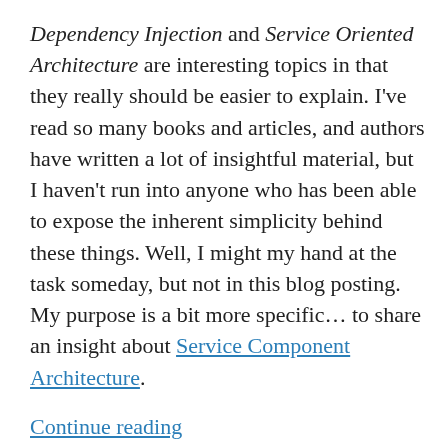Dependency Injection and Service Oriented Architecture are interesting topics in that they really should be easier to explain. I've read so many books and articles, and authors have written a lot of insightful material, but I haven't run into anyone who has been able to expose the inherent simplicity behind these things. Well, I might my hand at the task someday, but not in this blog posting. My purpose is a bit more specific… to share an insight about Service Component Architecture. Continue reading
Murray Todd Williams / August 10, 2012 / J2EE, CDI and SOA / Dependency Injection, IBM, JBoss, SCA, Service Oriented Architecture, SOA, Switchyard / 3 Comments